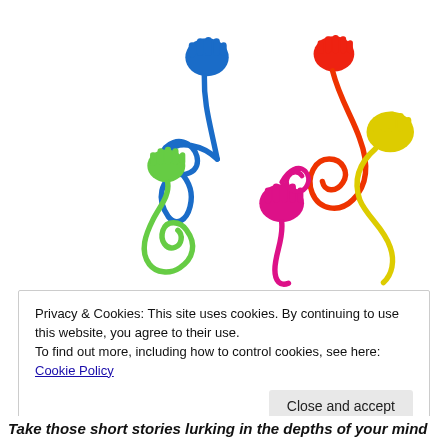[Figure (photo): Colorful sticky hand toys (novelty stretchy hand-on-a-string toys) in blue, green, red, orange, pink, and yellow, tangled together on a white background.]
Privacy & Cookies: This site uses cookies. By continuing to use this website, you agree to their use.
To find out more, including how to control cookies, see here: Cookie Policy
Close and accept
Take those short stories lurking in the depths of your mind